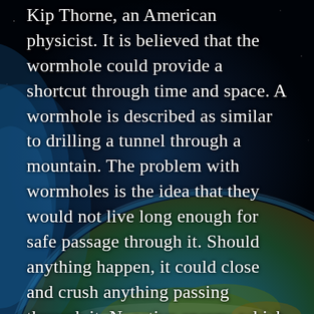Kip Thorne, an American physicist. It is believed that the wormhole could provide a shortcut through time and space. A wormhole is described as similar to drilling a tunnel through a mountain. The problem with wormholes is the idea that they would not live long enough for safe passage through it. Should anything happen, it could close and crush anything passing through it. Negative energy, which is partnered with negative mass, could help keep wormholes open, as suggested by physicists. If it becomes possible to keep the wormhole hole open, the next problem would be the worry of the wormhole hole opening in the correct part of time and space.